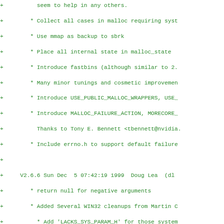Diff/patch content showing changelog entries for malloc library versions V2.6.6 and V2.6.5